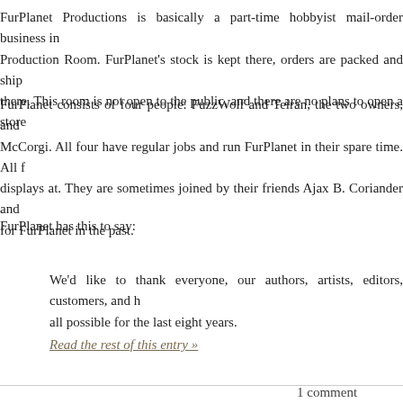FurPlanet Productions is basically a part-time hobbyist mail-order business in Production Room. FurPlanet's stock is kept there, orders are packed and shipped there. This room is not open to the public, and there are no plans to open a store
FurPlanet consists of four people: FuzzWolf and Teiran, the two owners, and McCorgi. All four have regular jobs and run FurPlanet in their spare time. All displays at. They are sometimes joined by their friends Ajax B. Coriander and for FurPlanet in the past.
FurPlanet has this to say:
We’d like to thank everyone, our authors, artists, editors, customers, and b all possible for the last eight years.
Read the rest of this entry »
1 comment